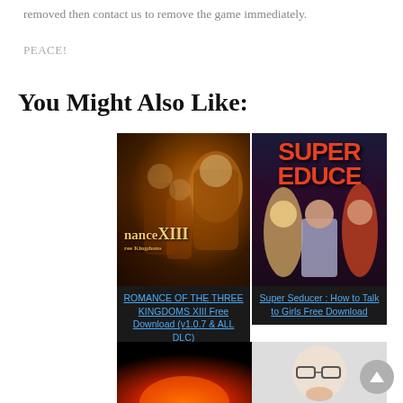removed then contact us to remove the game immediately.
PEACE!
You Might Also Like:
[Figure (illustration): Game cover art for ROMANCE OF THE THREE KINGDOMS XIII with dark fantasy artwork showing warriors and characters]
ROMANCE OF THE THREE KINGDOMS XIII Free Download (v1.0.7 & ALL DLC)
[Figure (illustration): Game cover art for Super Seducer: How to Talk to Girls with bold red text and illustrated characters]
Super Seducer : How to Talk to Girls Free Download
[Figure (illustration): Partial view of two more game thumbnails at the bottom of the page]
[Figure (illustration): Scroll-to-top button on the bottom right]